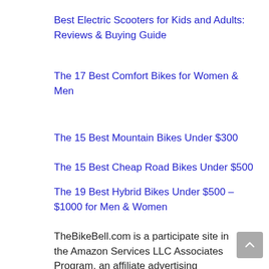Best Electric Scooters for Kids and Adults: Reviews & Buying Guide
The 17 Best Comfort Bikes for Women & Men
The 15 Best Mountain Bikes Under $300
The 15 Best Cheap Road Bikes Under $500
The 19 Best Hybrid Bikes Under $500 – $1000 for Men & Women
TheBikeBell.com is a participate site in the Amazon Services LLC Associates Program, an affiliate advertising program